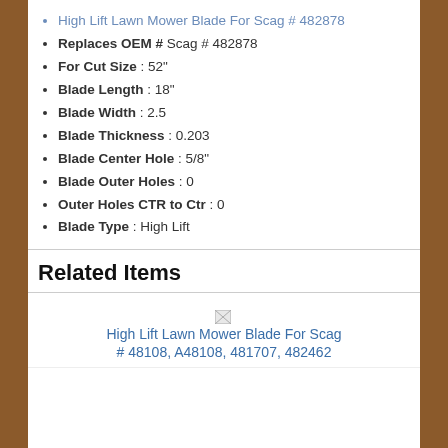High Lift Lawn Mower Blade For Scag # 482878
Replaces OEM # Scag # 482878
For Cut Size : 52"
Blade Length : 18"
Blade Width : 2.5
Blade Thickness : 0.203
Blade Center Hole : 5/8"
Blade Outer Holes : 0
Outer Holes CTR to Ctr : 0
Blade Type : High Lift
Related Items
[Figure (other): Broken image placeholder for High Lift Lawn Mower Blade For Scag # 48108, A48108, 481707, 482462]
High Lift Lawn Mower Blade For Scag # 48108, A48108, 481707, 482462
High Lift Lawn Mower Blade For